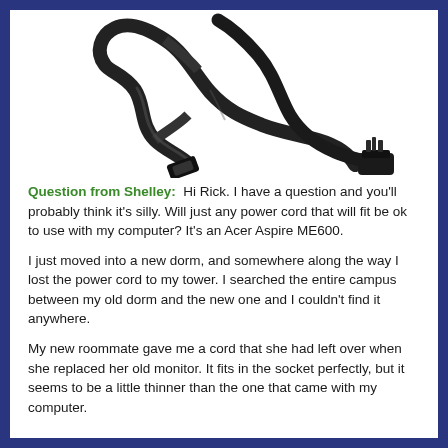[Figure (photo): A black power cord coiled with a three-prong plug on one end and a female IEC C7 or C13 connector on the other end, photographed against a white background.]
Question from Shelley:  Hi Rick. I have a question and you'll probably think it's silly. Will just any power cord that will fit be ok to use with my computer? It's an Acer Aspire ME600.
I just moved into a new dorm, and somewhere along the way I lost the power cord to my tower. I searched the entire campus between my old dorm and the new one and I couldn't find it anywhere.
My new roommate gave me a cord that she had left over when she replaced her old monitor. It fits in the socket perfectly, but it seems to be a little thinner than the one that came with my computer.